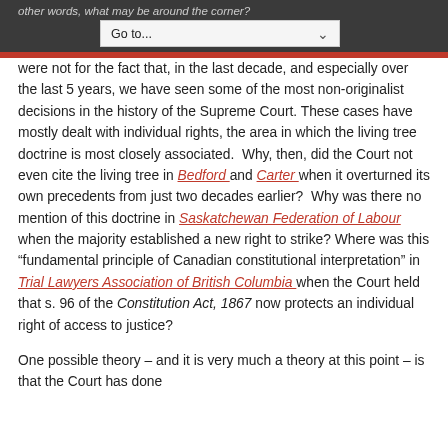other words, what may be around the corner?
were not for the fact that, in the last decade, and especially over the last 5 years, we have seen some of the most non-originalist decisions in the history of the Supreme Court. These cases have mostly dealt with individual rights, the area in which the living tree doctrine is most closely associated.  Why, then, did the Court not even cite the living tree in Bedford and Carter when it overturned its own precedents from just two decades earlier?  Why was there no mention of this doctrine in Saskatchewan Federation of Labour when the majority established a new right to strike? Where was this “fundamental principle of Canadian constitutional interpretation” in Trial Lawyers Association of British Columbia when the Court held that s. 96 of the Constitution Act, 1867 now protects an individual right of access to justice?
One possible theory – and it is very much a theory at this point – is that the Court has done